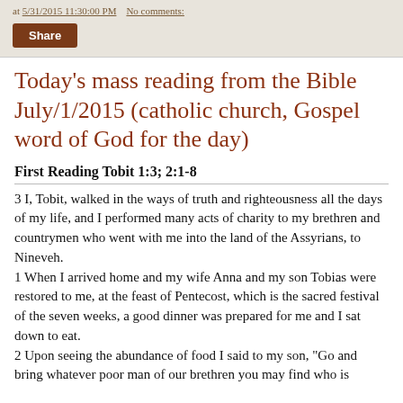at 5/31/2015 11:30:00 PM   No comments:
Share
Today's mass reading from the Bible July/1/2015 (catholic church, Gospel word of God for the day)
First Reading Tobit 1:3; 2:1-8
3 I, Tobit, walked in the ways of truth and righteousness all the days of my life, and I performed many acts of charity to my brethren and countrymen who went with me into the land of the Assyrians, to Nineveh.
1 When I arrived home and my wife Anna and my son Tobias were restored to me, at the feast of Pentecost, which is the sacred festival of the seven weeks, a good dinner was prepared for me and I sat down to eat.
2 Upon seeing the abundance of food I said to my son, "Go and bring whatever poor man of our brethren you may find who is